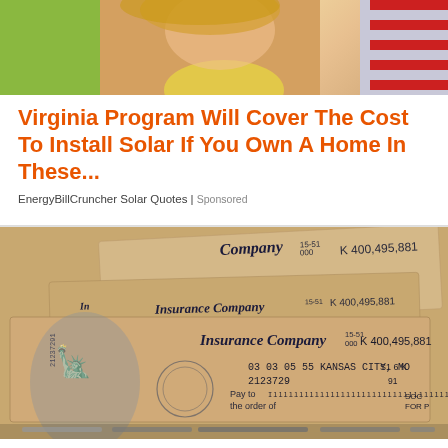[Figure (photo): Photo of a woman with blonde hair in a yellow shirt, with an American flag in the background]
Virginia Program Will Cover The Cost To Install Solar If You Own A Home In These...
EnergyBillCruncher Solar Quotes | Sponsored
[Figure (photo): Photo of multiple insurance checks from 'Insurance Company' with number K 400,495,881, showing the Statue of Liberty watermark, dated 03 03 05, from Kansas City, MO]